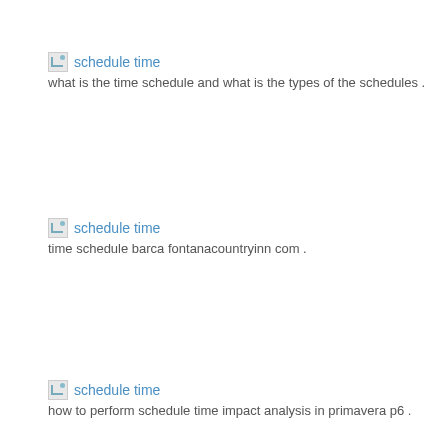[Figure (other): Broken image placeholder with text 'schedule time']
what is the time schedule and what is the types of the schedules .
[Figure (other): Broken image placeholder with text 'schedule time']
time schedule barca fontanacountryinn com .
[Figure (other): Broken image placeholder with text 'schedule time']
how to perform schedule time impact analysis in primavera p6 .